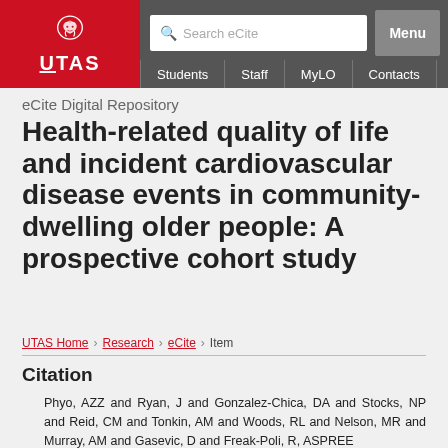[Figure (logo): UTAS University of Tasmania logo with lion crest, white on red background]
Search eCite | Menu | Students | Staff | MyLO | Contacts
eCite Digital Repository
Health-related quality of life and incident cardiovascular disease events in community-dwelling older people: A prospective cohort study
UTAS Home > Research > eCite > Item
Citation
Phyo, AZZ and Ryan, J and Gonzalez-Chica, DA and Stocks, NP and Reid, CM and Tonkin, AM and Woods, RL and Nelson, MR and Murray, AM and Gasevic, D and Freak-Poli, R, ASPREE